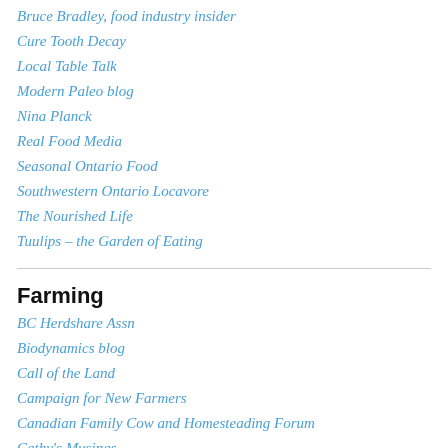Bruce Bradley, food industry insider
Cure Tooth Decay
Local Table Talk
Modern Paleo blog
Nina Planck
Real Food Media
Seasonal Ontario Food
Southwestern Ontario Locavore
The Nourished Life
Tuulips – the Garden of Eating
Farming
BC Herdshare Assn
Biodynamics blog
Call of the Land
Campaign for New Farmers
Canadian Family Cow and Homesteading Forum
Cathy's Musings